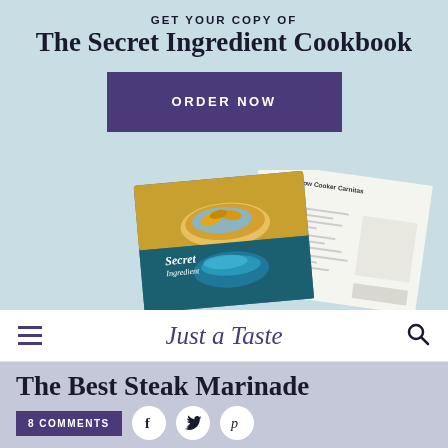GET YOUR COPY OF
The Secret Ingredient Cookbook
ORDER NOW
[Figure (photo): Mockup of The Secret Ingredient Cookbook showing cover with food photography and an interior recipe page with Crispy Slow Cooker Carnitas]
Just a Taste
The Best Steak Marinade
8 COMMENTS